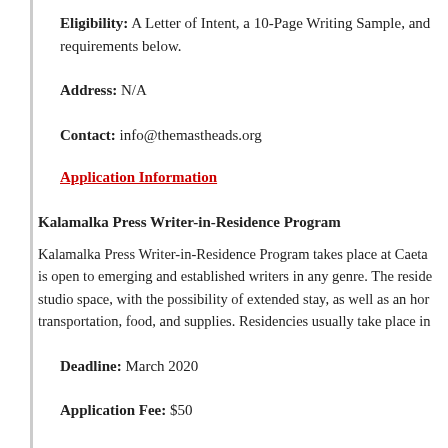Eligibility: A Letter of Intent, a 10-Page Writing Sample, and requirements below.
Address: N/A
Contact: info@themastheads.org
Application Information
Kalamalka Press Writer-in-Residence Program
Kalamalka Press Writer-in-Residence Program takes place at Caeta is open to emerging and established writers in any genre. The reside studio space, with the possibility of extended stay, as well as an hor transportation, food, and supplies. Residencies usually take place in
Deadline: March 2020
Application Fee: $50